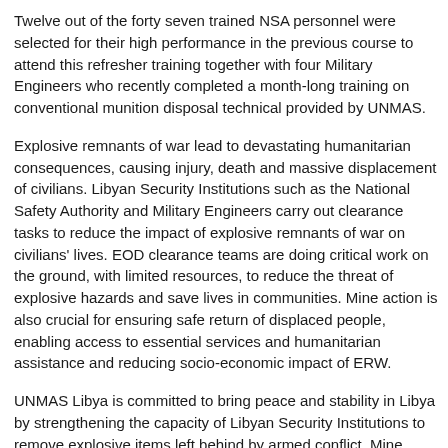Twelve out of the forty seven trained NSA personnel were selected for their high performance in the previous course to attend this refresher training together with four Military Engineers who recently completed a month-long training on conventional munition disposal technical provided by UNMAS.
Explosive remnants of war lead to devastating humanitarian consequences, causing injury, death and massive displacement of civilians. Libyan Security Institutions such as the National Safety Authority and Military Engineers carry out clearance tasks to reduce the impact of explosive remnants of war on civilians' lives. EOD clearance teams are doing critical work on the ground, with limited resources, to reduce the threat of explosive hazards and save lives in communities. Mine action is also crucial for ensuring safe return of displaced people, enabling access to essential services and humanitarian assistance and reducing socio-economic impact of ERW.
UNMAS Libya is committed to bring peace and stability in Libya by strengthening the capacity of Libyan Security Institutions to remove explosive items left behind by armed conflict. Mine action activities will further enable and facilitate, reconstruction, stabilization and development initiatives in Libya.